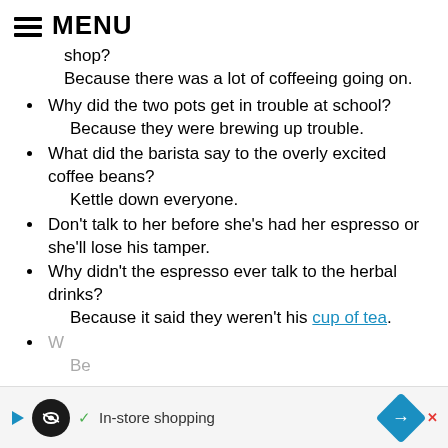MENU
shop?
Because there was a lot of coffeeing going on.
Why did the two pots get in trouble at school?
Because they were brewing up trouble.
What did the barista say to the overly excited coffee beans?
Kettle down everyone.
Don't talk to her before she's had her espresso or she'll lose his tamper.
Why didn't the espresso ever talk to the herbal drinks?
Because it said they weren't his cup of tea.
W...
Be...